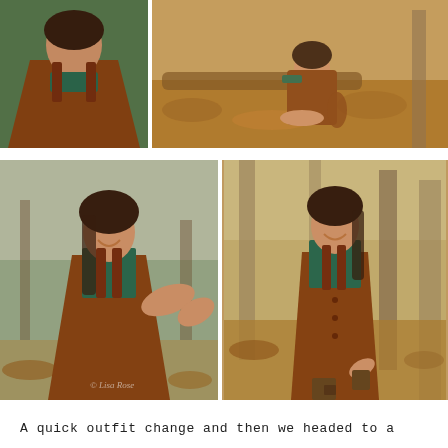[Figure (photo): Close-up portrait of a teenage girl wearing a teal/green turtleneck and rust-brown corduroy overall dress, outdoor autumn setting]
[Figure (photo): Girl in teal shirt and rust corduroy dress sitting on a log in an autumn forest with leaves on the ground]
[Figure (photo): Girl in teal shirt and rust corduroy dress reaching toward the camera, smiling, in an outdoor wooded path with bokeh background]
[Figure (photo): Girl in teal shirt and rust corduroy dress standing on a leaf-covered path in an autumn forest, posing with one leg raised, wearing brown boots]
A quick outfit change and then we headed to a